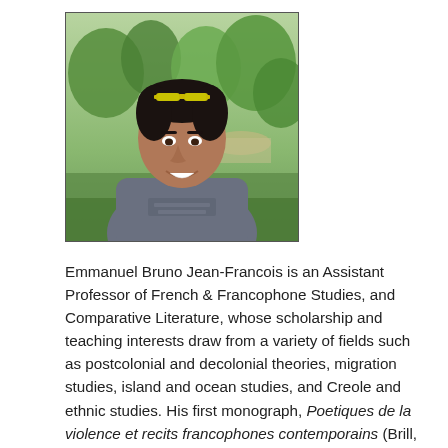[Figure (photo): Portrait photo of Emmanuel Bruno Jean-Francois, a man wearing a grey t-shirt with sunglasses on his head, smiling, with green park/garden background]
Emmanuel Bruno Jean-Francois is an Assistant Professor of French & Francophone Studies, and Comparative Literature, whose scholarship and teaching interests draw from a variety of fields such as postcolonial and decolonial theories, migration studies, island and ocean studies, and Creole and ethnic studies. His first monograph, Poetiques de la violence et recits francophones contemporains (Brill, 2017), is a comparative study that foregrounds the notion of 'rupture' as a relational framework for theorizing the